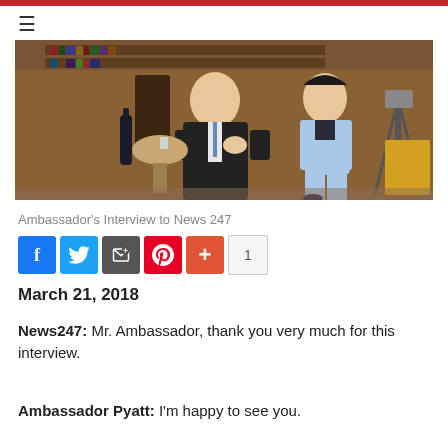≡
[Figure (photo): Two people seated in chairs in a library/office setting during an interview. A man in a dark suit on the left and a woman in a light blue suit on the right. A small round table with a glass is between them, and camera equipment is visible on the right.]
Ambassador's Interview to News 247
March 21, 2018
News247:  Mr. Ambassador, thank you very much for this interview.
Ambassador Pyatt:  I'm happy to see you.